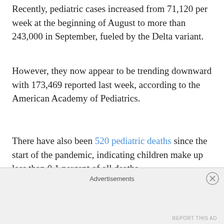Recently, pediatric cases increased from 71,120 per week at the beginning of August to more than 243,000 in September, fueled by the Delta variant.
However, they now appear to be trending downward with 173,469 reported last week, according to the American Academy of Pediatrics.
There have also been 520 pediatric deaths since the start of the pandemic, indicating children make up less than 0.1 percent of all deaths.
Currently, no evidence suggests the Delta variant
Advertisements